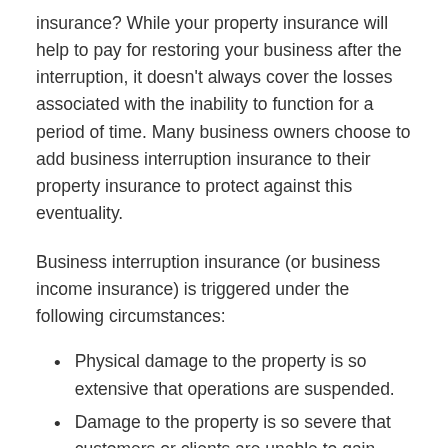insurance? While your property insurance will help to pay for restoring your business after the interruption, it doesn't always cover the losses associated with the inability to function for a period of time. Many business owners choose to add business interruption insurance to their property insurance to protect against this eventuality.
Business interruption insurance (or business income insurance) is triggered under the following circumstances:
Physical damage to the property is so extensive that operations are suspended.
Damage to the property is so severe that customers or clients are unable to gain access.